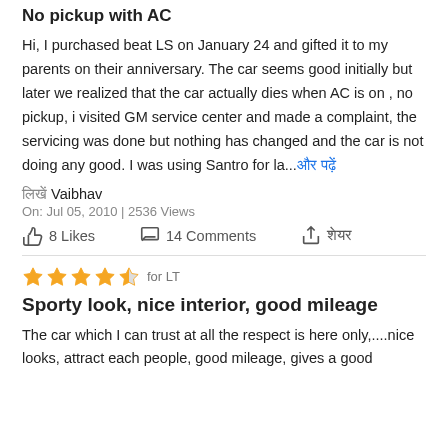No pickup with AC
Hi, I purchased beat LS on January 24 and gifted it to my parents on their anniversary. The car seems good initially but later we realized that the car actually dies when AC is on , no pickup, i visited GM service center and made a complaint, the servicing was done but nothing has changed and the car is not doing any good. I was using Santro for la...और पढ़ें
लिखें Vaibhav
On: Jul 05, 2010 | 2536 Views
8 Likes   14 Comments   शेयर
★★★★½ for LT
Sporty look, nice interior, good mileage
The car which I can trust at all the respect is here only,....nice looks, attract each people, good mileage, gives a good...